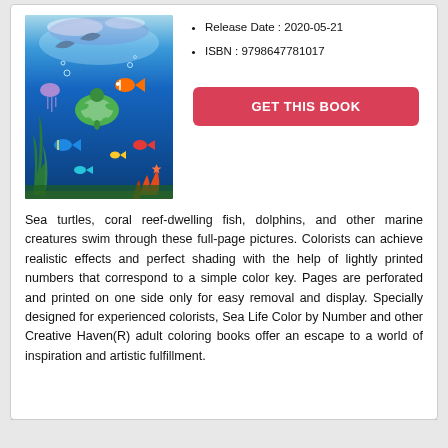[Figure (illustration): Book cover showing an underwater ocean scene with sea turtles, dolphins, coral reef fish, and other marine creatures in bright blue water with coral and sea plants.]
Release Date : 2020-05-21
ISBN : 9798647781017
GET THIS BOOK
Sea turtles, coral reef-dwelling fish, dolphins, and other marine creatures swim through these full-page pictures. Colorists can achieve realistic effects and perfect shading with the help of lightly printed numbers that correspond to a simple color key. Pages are perforated and printed on one side only for easy removal and display. Specially designed for experienced colorists, Sea Life Color by Number and other Creative Haven(R) adult coloring books offer an escape to a world of inspiration and artistic fulfillment.